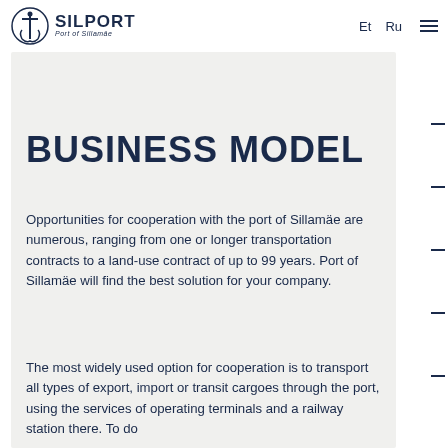SILPORT Port of Sillamäe | Et Ru
BUSINESS MODEL
Opportunities for cooperation with the port of Sillamäe are numerous, ranging from one or longer transportation contracts to a land-use contract of up to 99 years. Port of Sillamäe will find the best solution for your company.
The most widely used option for cooperation is to transport all types of export, import or transit cargoes through the port, using the services of operating terminals and a railway station there. To do